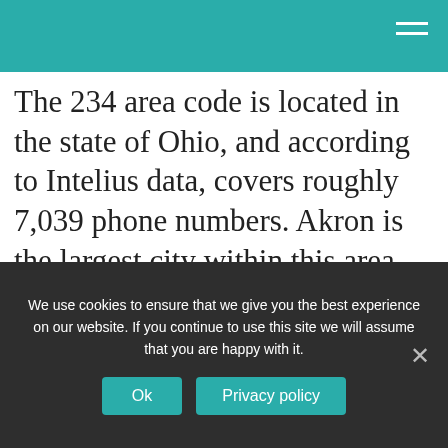The 234 area code is located in the state of Ohio, and according to Intelius data, covers roughly 7,039 phone numbers. Akron is the largest city within this area code with a population of about 271,641. Have you received a call from a number with a 234 area code? Figure out who is calling you by performing a reverse phone lookup search.
Where is telephone country code 234?
We use cookies to ensure that we give you the best experience on our website. If you continue to use this site we will assume that you are happy with it.